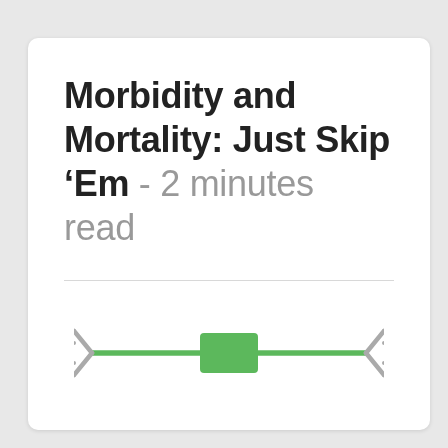Morbidity and Mortality: Just Skip ‘Em - 2 minutes read
[Figure (illustration): A staple remover tool depicted horizontally, with a green square/handle in the center and gray claw-like ends on both sides, set against a green horizontal line.]